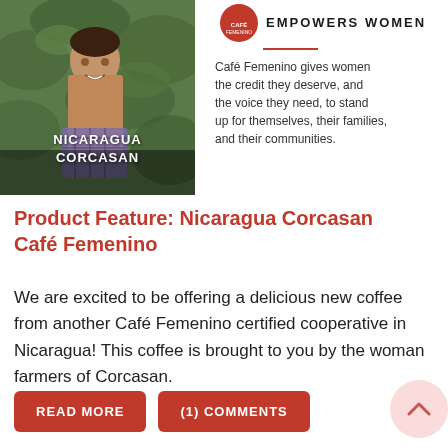[Figure (photo): Photo of a woman farmer standing outdoors with green coffee plants behind her, wearing a brown top and plaid skirt. Text overlay reads NICARAGUA CORCASAN.]
Café Femenino gives women the credit they deserve, and the voice they need, to stand up for themselves, their families, and their communities.
Product Feature: Nicaragua Corcasan Café Femenino
We are excited to be offering a delicious new coffee from another Café Femenino certified cooperative in Nicaragua! This coffee is brought to you by the woman farmers of Corcasan.
READ MORE
(1) COMMENTS